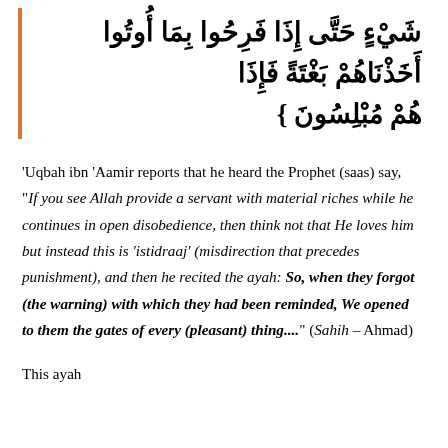شَيْءٍ حَتَّى إِذَا فَرِحُوا بِمَا أُوتُوا أَخَذْنَاهُمْ بَغْتَةً فَإِذَا هُمْ مُبْلِسُونَ }
'Uqbah ibn 'Aamir reports that he heard the Prophet (saas) say, "If you see Allah provide a servant with material riches while he continues in open disobedience, then think not that He loves him but instead this is 'istidraaj' (misdirection that precedes punishment), and then he recited the ayah: So, when they forgot (the warning) with which they had been reminded, We opened to them the gates of every (pleasant) thing...." (Sahih – Ahmad)
This ayah...